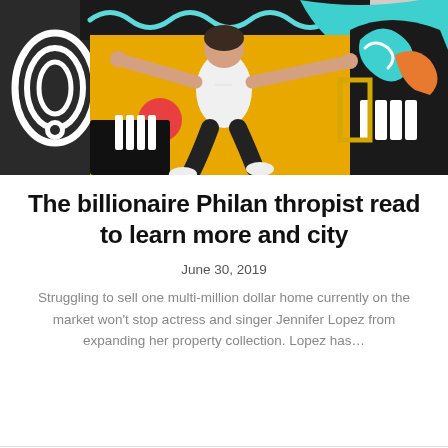[Figure (photo): Young man in white t-shirt jumping/posing in front of a colorful mural with abstract shapes in teal, yellow, orange, red and black and white patterns]
The billionaire Philan thropist read to learn more and city
June 30, 2019
Struggling to sell one multi-million dollar home currently on the market won't stop actress and singer Jennifer Lopez from expanding her property collection. Lopez has…